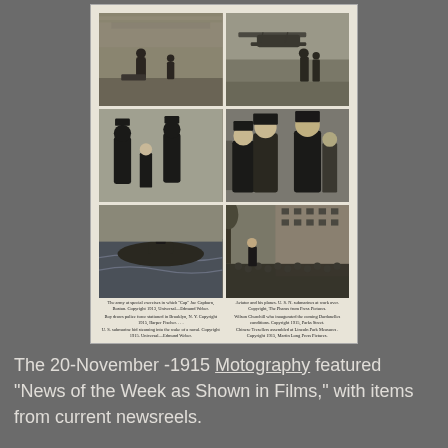[Figure (photo): A newspaper or magazine page featuring a 2x3 grid of six historical black-and-white photographs with small captions beneath each pair, from the 20-November-1915 issue of Motography. Top row: left photo shows people on a field with a figure crouching, right photo shows a biplane with people standing near it. Middle row: left photo shows uniformed police officer with a boy and a man in dark coat and hat, right photo shows a group of men in coats and hats. Bottom row: left photo shows a submarine or vessel at sea, right photo shows a crowd scene at what appears to be Lincoln Park Measures.]
The 20-November -1915 Motography featured "News of the Week as Shown in Films," with items from current newsreels.